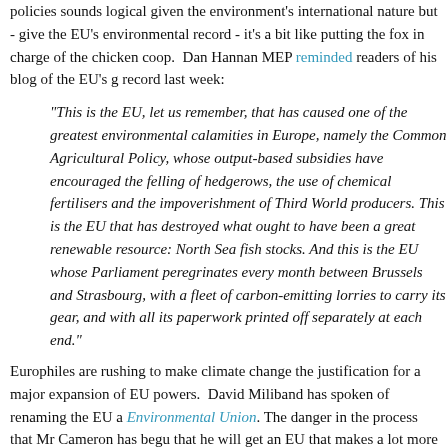policies sounds logical given the environment's international nature but - given the EU's environmental record - it's a bit like putting the fox in charge of the chicken coop.  Dan Hannan MEP reminded readers of his blog of the EU's record last week:
"This is the EU, let us remember, that has caused one of the greatest environmental calamities in Europe, namely the Common Agricultural Policy, whose output-based subsidies have encouraged the felling of hedgerows, the use of chemical fertilisers and the impoverishment of Third World producers. This is the EU that has destroyed what ought to have been a great renewable resource: North Sea fish stocks. And this is the EU whose Parliament peregrinates every month between Brussels and Strasbourg, with a fleet of carbon-emitting lorries to carry its gear, and with all its paperwork printed off separately at each end."
Europhiles are rushing to make climate change the justification for a major expansion of EU powers.  David Miliband has spoken of renaming the EU an Environmental Union. The danger in the process that Mr Cameron has begun is that he will get an EU that makes a lot more noise about being environmentally friendly but the EU bureaucracy will get powers to levy green taxes and regulations to - supposedly - make it all happen.  Eurosceptics (and those who believe that technological transfer to developing nations is going to solve environmental problems) will need to be very vigilant in Cameron's green EU